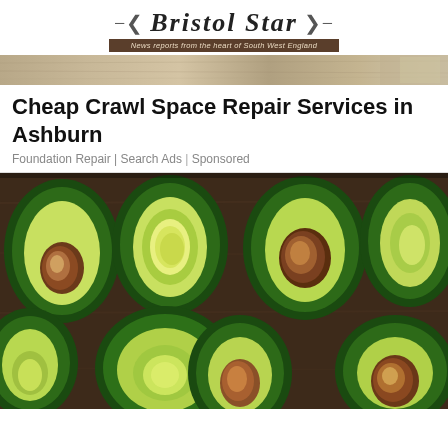Bristol Star — News reports from the heart of South West England
[Figure (photo): Banner/header image strip with sandy/stone texture]
Cheap Crawl Space Repair Services in Ashburn
Foundation Repair | Search Ads | Sponsored
[Figure (photo): Top-down photo of multiple halved avocados showing green flesh, pits, arranged on a wooden surface]